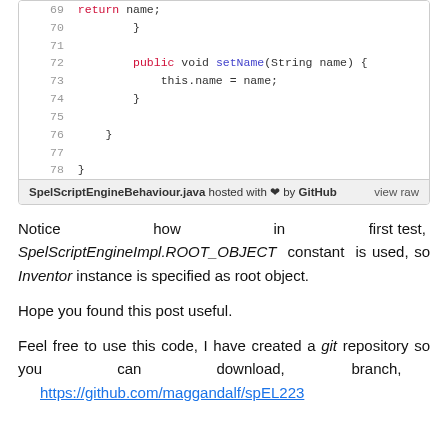[Figure (screenshot): Java code snippet showing lines 69–78 with return name;, setName method, and closing braces]
SpelScriptEngineBehaviour.java hosted with ❤ by GitHub  view raw
Notice how in first test, SpelScriptEngineImpl.ROOT_OBJECT constant is used, so Inventor instance is specified as root object.
Hope you found this post useful.
Feel free to use this code, I have created a git repository so you can download, branch, https://github.com/maggandalf/spEL223